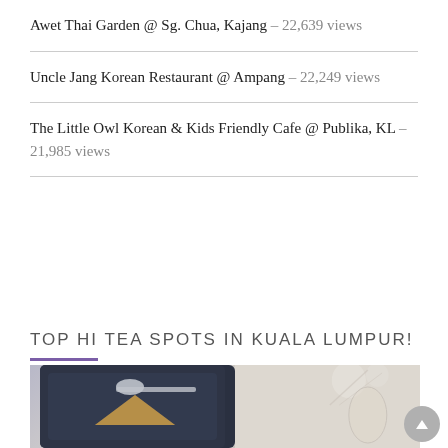Awet Thai Garden @ Sg. Chua, Kajang - 22,639 views
Uncle Jang Korean Restaurant @ Ampang - 22,249 views
The Little Owl Korean & Kids Friendly Cafe @ Publika, KL - 21,985 views
TOP HI TEA SPOTS IN KUALA LUMPUR!
[Figure (photo): Photo of afternoon tea items on a dark tray with a spoon and pastry, alongside a glass vase with flowers; text overlay reads 'C&C PICKS ! Afternoon Tea']